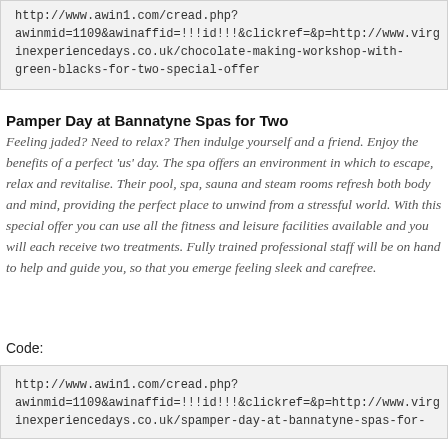http://www.awin1.com/cread.php?awinmid=1109&awinaffid=!!!id!!!&clickref=&p=http://www.virginexperiencedays.co.uk/chocolate-making-workshop-with-green-blacks-for-two-special-offer
Pamper Day at Bannatyne Spas for Two
Feeling jaded? Need to relax? Then indulge yourself and a friend. Enjoy the benefits of a perfect 'us' day. The spa offers an environment in which to escape, relax and revitalise. Their pool, spa, sauna and steam rooms refresh both body and mind, providing the perfect place to unwind from a stressful world. With this special offer you can use all the fitness and leisure facilities available and you will each receive two treatments. Fully trained professional staff will be on hand to help and guide you, so that you emerge feeling sleek and carefree.
Code:
http://www.awin1.com/cread.php?awinmid=1109&awinaffid=!!!id!!!&clickref=&p=http://www.virginexperiencedays.co.uk/spamper-day-at-bannatyne-spas-for-